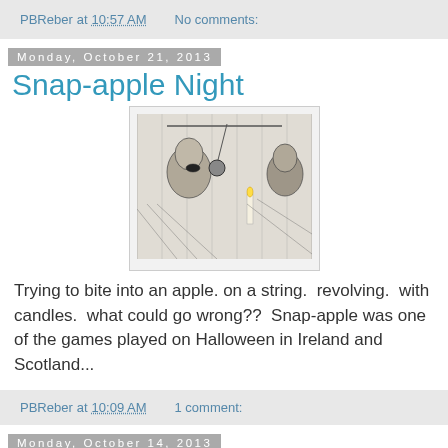PBReber at 10:57 AM   No comments:
Monday, October 21, 2013
Snap-apple Night
[Figure (illustration): Black and white illustration of people playing snap-apple game, biting at apples on strings with candles]
Trying to bite into an apple. on a string.  revolving.  with candles.  what could go wrong??  Snap-apple was one of the games played on Halloween in Ireland and Scotland...
PBReber at 10:09 AM   1 comment:
Monday, October 14, 2013
Sugar Mills on Sugar Plantations